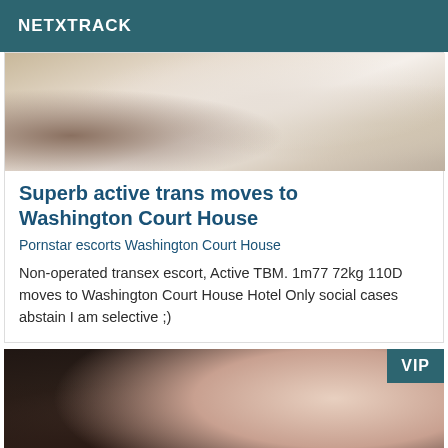NETXTRACK
[Figure (photo): Partial photo of a person, cropped, light tones]
Superb active trans moves to Washington Court House
Pornstar escorts Washington Court House
Non-operated transex escort, Active TBM. 1m77 72kg 110D moves to Washington Court House Hotel Only social cases abstain I am selective ;)
[Figure (photo): Partial photo showing dark lingerie, with VIP badge in top right corner]